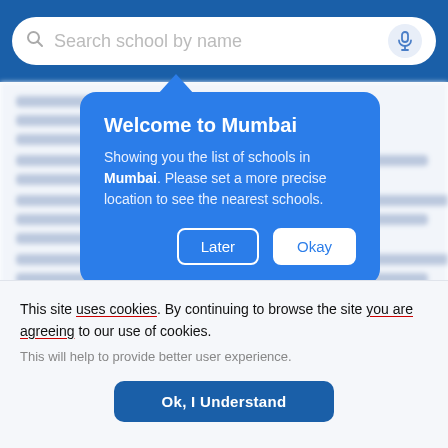[Figure (screenshot): Search bar with placeholder text 'Search school by name' on a blue background header with microphone icon.]
[Figure (screenshot): Blurred background content showing list of schools in Mumbai with text links partially visible.]
Welcome to Mumbai
Showing you the list of schools in Mumbai. Please set a more precise location to see the nearest schools.
Later
Okay
This site uses cookies. By continuing to browse the site you are agreeing to our use of cookies.
This will help to provide better user experience.
Ok, I Understand